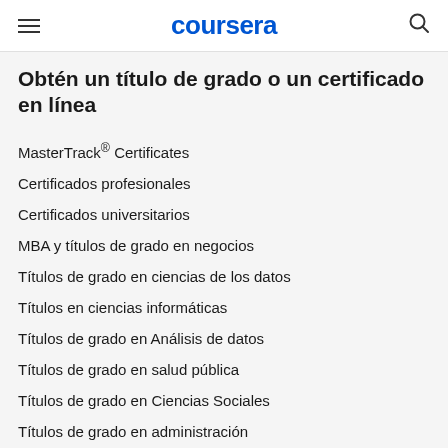coursera
Obtén un título de grado o un certificado en línea
MasterTrack® Certificates
Certificados profesionales
Certificados universitarios
MBA y títulos de grado en negocios
Títulos de grado en ciencias de los datos
Títulos en ciencias informáticas
Títulos de grado en Análisis de datos
Títulos de grado en salud pública
Títulos de grado en Ciencias Sociales
Títulos de grado en administración
Títulos de grado de las principales universidades europeas
Maestrías